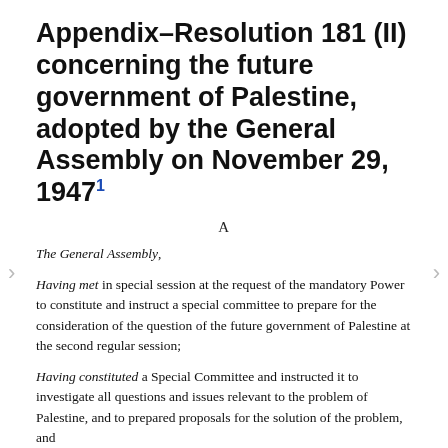Appendix–Resolution 181 (II) concerning the future government of Palestine, adopted by the General Assembly on November 29, 1947¹
A
The General Assembly,
Having met in special session at the request of the mandatory Power to constitute and instruct a special committee to prepare for the consideration of the question of the future government of Palestine at the second regular session;
Having constituted a Special Committee and instructed it to investigate all questions and issues relevant to the problem of Palestine, and to prepared proposals for the solution of the problem, and
Having received and examined the report of the Special Committee